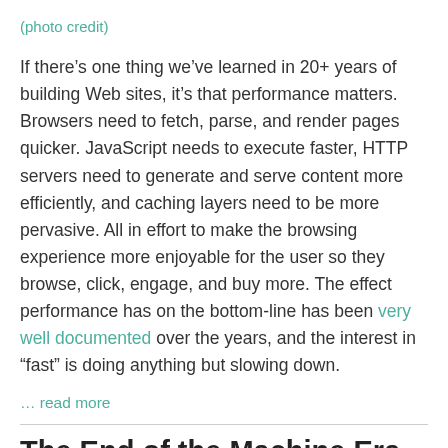(photo credit)
If there’s one thing we’ve learned in 20+ years of building Web sites, it’s that performance matters. Browsers need to fetch, parse, and render pages quicker. JavaScript needs to execute faster, HTTP servers need to generate and serve content more efficiently, and caching layers need to be more pervasive. All in effort to make the browsing experience more enjoyable for the user so they browse, click, engage, and buy more. The effect performance has on the bottom-line has been very well documented over the years, and the interest in “fast” is doing anything but slowing down.
… read more
The End of the Machine Era